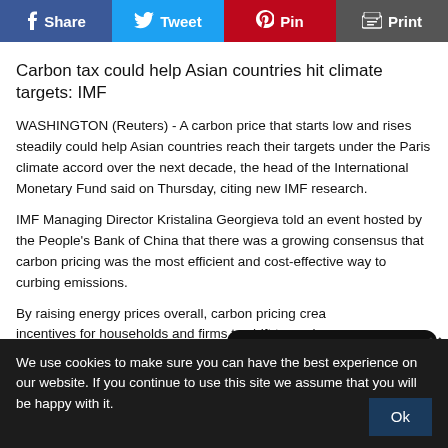Share | Tweet | Pin | Print
Carbon tax could help Asian countries hit climate targets: IMF
WASHINGTON (Reuters) - A carbon price that starts low and rises steadily could help Asian countries reach their targets under the Paris climate accord over the next decade, the head of the International Monetary Fund said on Thursday, citing new IMF research.
IMF Managing Director Kristalina Georgieva told an event hosted by the People's Bank of China that there was a growing consensus that carbon pricing was the most efficient and cost-effective way to curbing emissions.
By raising energy prices overall, carbon pricing creates incentives for households and firms to shift toward greener options, while promoting energy efficiency, boosting investments and spurring innovation, she said.
The IMF is urging the world's largest emitters to adopt price floors to ensure more substantial climate
[Figure (other): Facebook social media promotional overlay with thumbs up icon, Facebook logo text, 'Make a difference. Share. Love. Care. From Here.' tagline, close button (×), and a blue heart-shaped 'I LOVE' badge]
We use cookies to make sure you can have the best experience on our website. If you continue to use this site we assume that you will be happy with it.   Ok